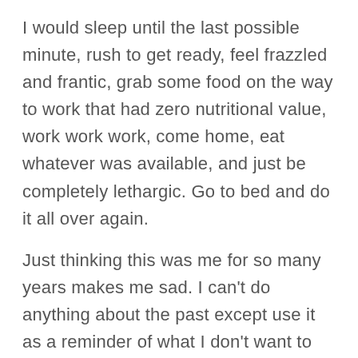I would sleep until the last possible minute, rush to get ready, feel frazzled and frantic, grab some food on the way to work that had zero nutritional value, work work work, come home, eat whatever was available, and just be completely lethargic. Go to bed and do it all over again.
Just thinking this was me for so many years makes me sad. I can't do anything about the past except use it as a reminder of what I don't want to go back to.
When my alarm goes off at #5am and all I want to do is go back to bed, I can call upon that #lesson from the past but also think about how much I am going to enjoy my cup of coffee and the silence. I think about the allure, that gap in that...